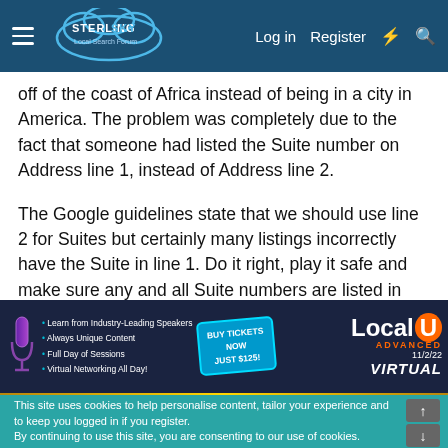Sterling Sky Local Search Forum — Log in | Register
off of the coast of Africa instead of being in a city in America. The problem was completely due to the fact that someone had listed the Suite number on Address line 1, instead of Address line 2.
The Google guidelines state that we should use line 2 for Suites but certainly many listings incorrectly have the Suite in line 1. Do it right, play it safe and make sure any and all Suite numbers are listed in their proper place... line 2.
[Figure (infographic): LocalU Advanced Virtual conference banner ad. Buy Tickets Now Just $125! 11/2/22. Bullet points: Learn from Industry-Leading Speakers, Always Unique Content, Full Day of Sessions, Virtual Networking All Day!]
This site uses cookies to help personalise content, tailor your experience and to keep you logged in if you register. By continuing to use this site, you are consenting to our use of cookies.
✓ Accept
Learn more...